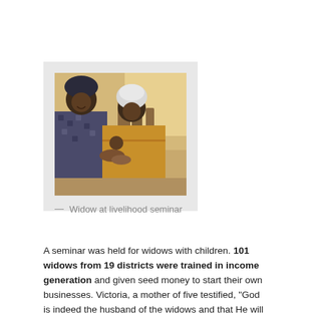[Figure (photo): Two women at a livelihood seminar, one in a patterned dress and head covering, the other in a yellow top with a white head covering, appearing to exchange something; other attendees visible in the background in an indoor setting.]
— Widow at livelihood seminar
A seminar was held for widows with children. 101 widows from 19 districts were trained in income generation and given seed money to start their own businesses. Victoria, a mother of five testified, “God is indeed the husband of the widows and that He will come to the aid of